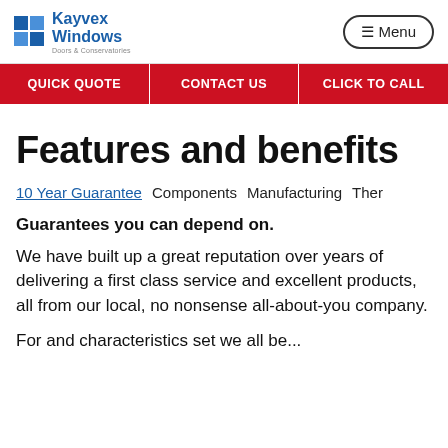Kayvex Windows – Doors & Conservatories | Menu
[Figure (logo): Kayvex Windows logo with blue window-pane icon and text 'Kayvex Windows Doors & Conservatories']
QUICK QUOTE   CONTACT US   CLICK TO CALL
Features and benefits
10 Year Guarantee   Components   Manufacturing   Ther
Guarantees you can depend on.
We have built up a great reputation over years of delivering a first class service and excellent products, all from our local, no nonsense all-about-you company.
For and characteristics set well be...